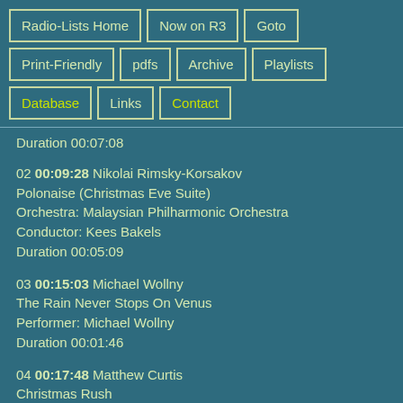Radio-Lists Home
Now on R3
Goto
Print-Friendly
pdfs
Archive
Playlists
Database
Links
Contact
Duration 00:07:08
02 00:09:28 Nikolai Rimsky-Korsakov
Polonaise (Christmas Eve Suite)
Orchestra: Malaysian Philharmonic Orchestra
Conductor: Kees Bakels
Duration 00:05:09
03 00:15:03 Michael Wollny
The Rain Never Stops On Venus
Performer: Michael Wollny
Duration 00:01:46
04 00:17:48 Matthew Curtis
Christmas Rush
Orchestra: RTÉ Concert Orchestra